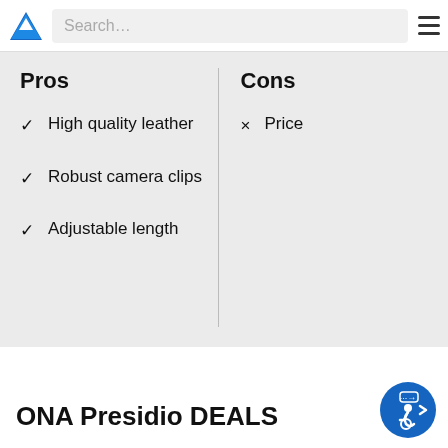Search…
Pros
Cons
High quality leather
Robust camera clips
Adjustable length
Price
ONA Presidio DEALS